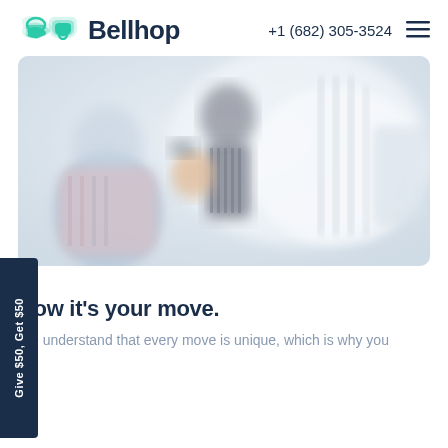Bellhop  +1 (682) 305-3524
[Figure (photo): Blurred photo of a family with children moving, showing people handling items in a bright interior setting]
Give $50, Get $50
Now it’s your move.
We understand that every move is unique, which is why you